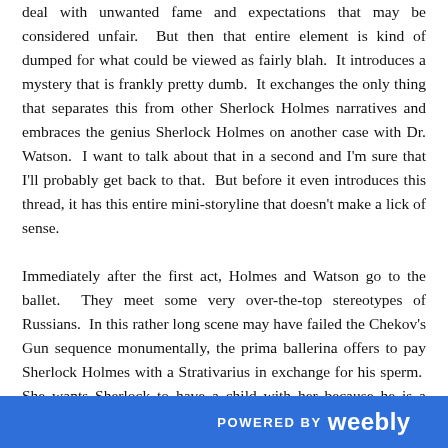deal with unwanted fame and expectations that may be considered unfair.  But then that entire element is kind of dumped for what could be viewed as fairly blah.  It introduces a mystery that is frankly pretty dumb.  It exchanges the only thing that separates this from other Sherlock Holmes narratives and embraces the genius Sherlock Holmes on another case with Dr. Watson.  I want to talk about that in a second and I'm sure that I'll probably get back to that.  But before it even introduces this thread, it has this entire mini-storyline that doesn't make a lick of sense.

Immediately after the first act, Holmes and Watson go to the ballet.  They meet some very over-the-top stereotypes of Russians.  In this rather long scene may have failed the Chekov's Gun sequence monumentally, the prima ballerina offers to pay Sherlock Holmes with a Strativarius in exchange for his sperm.  She wants Sherlock to have a child with her because he is a genius.  In this sequence, there's some very 1970s attitudes about homosexuality and
▲ TOP   POWERED BY weebly